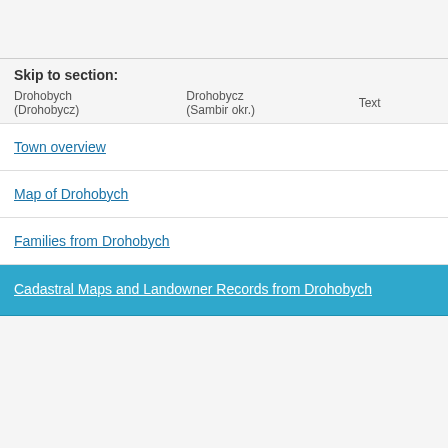Skip to section:
Town overview
Map of Drohobych
Families from Drohobych
Cadastral Maps and Landowner Records from Drohobych
| Drohobych (Drohobycz) | Drohobycz (Sambir okr.) | Text |  | XIX century | Book of lands and landowners of the town Drohobych. [Lenius notes: Wykaz stanu posiadlosci gruntowej. Includes house numbers, names, summary of land & building parcels, total land area & value for taxation. Records arranged in house number order. Ark. 1-50, Drohobych misto (city) house nos. 1-183; ark. 50-58, houses numbered 0 or with no | Lviv Archiv 186-1-917 |
| --- | --- | --- | --- | --- | --- | --- |
|  |  |  |  | XIX century | Book of lands and landowners of the town Drohobych. [Lenius notes: Wykaz stanu posiadlosci gruntowej. Includes house numbers, names, summary of land & building parcels, total land area & value for taxation. Records arranged in house number order. Ark. 1-50, Drohobych misto (city) house nos. 1-183; ark. 50-58, houses numbered 0 or with no | Lviv Archiv 186-1-917 |